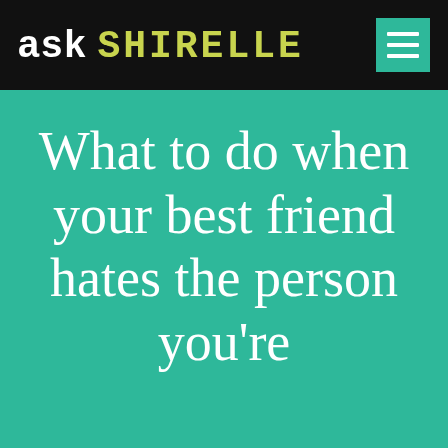aSK SHiReLLe
What to do when your best friend hates the person you're